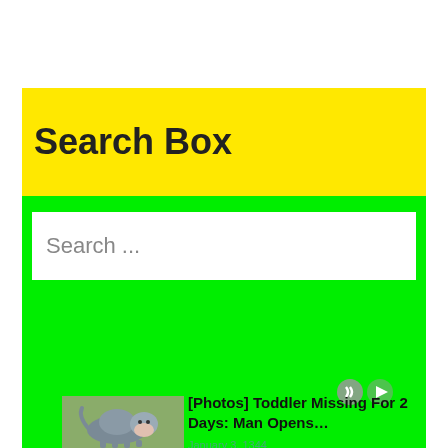Search Box
Search ...
[Figure (photo): A dog (blue/grey Pit Bull type) standing outdoors on grass]
[Photos] Toddler Missing For 2 Days: Man Opens…
January 3, 1344